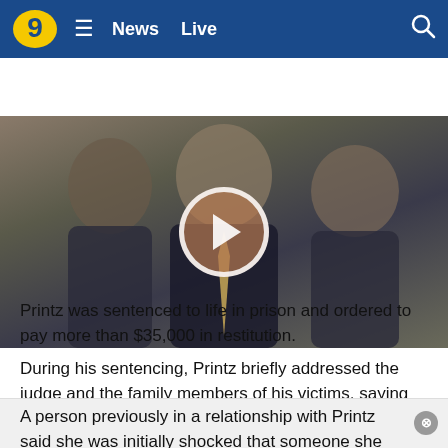9  ≡  News  Live  🔍
[Figure (photo): Video thumbnail showing three men in dark suits outdoors, with a white circular play button overlay in the center of the image.]
Printz was sentenced to life in prison and ordered to pay more than $35,000 in restitution.
During his sentencing, Printz briefly addressed the judge and the family members of his victims, saying he was sorry and asked for forgiveness, although admitting his apology cannot undo what he has done.
A person previously in a relationship with Printz said she was initially shocked that someone she knew could do